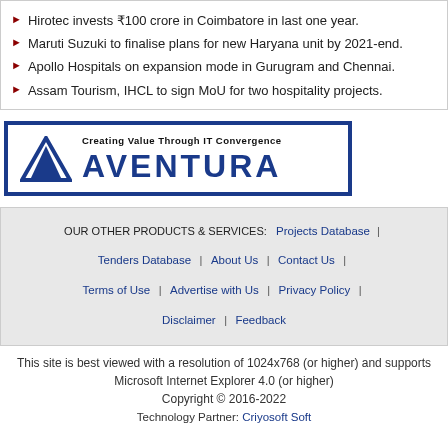Hirotec invests ₹100 crore in Coimbatore in last one year.
Maruti Suzuki to finalise plans for new Haryana unit by 2021-end.
Apollo Hospitals on expansion mode in Gurugram and Chennai.
Assam Tourism, IHCL to sign MoU for two hospitality projects.
[Figure (logo): Aventura logo with blue mountain icon and tagline 'Creating Value Through IT Convergence']
OUR OTHER PRODUCTS & SERVICES: Projects Database | Tenders Database | About Us | Contact Us | Terms of Use | Advertise with Us | Privacy Policy | Disclaimer | Feedback
This site is best viewed with a resolution of 1024x768 (or higher) and supports Microsoft Internet Explorer 4.0 (or higher)
Copyright © 2016-2022
Technology Partner: Criyosoft